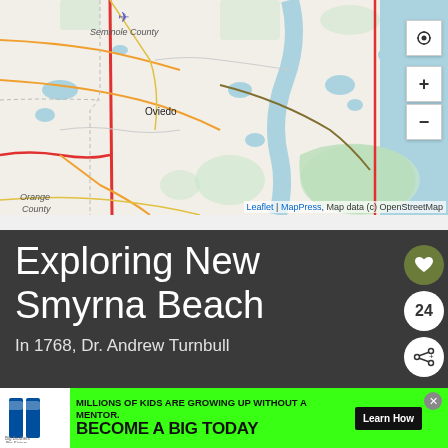[Figure (map): OpenStreetMap showing central Florida region including Seminole County, Oviedo, Orange County, Titusville, and Seminole Ranch Conservation Area. Map has controls for location, zoom in (+) and zoom out (-). Attribution reads: Leaflet | MapPress, Map data (c) OpenStreetMap]
Leaflet | MapPress, Map data (c) OpenStreetMap
Exploring New Smyrna Beach
In 1768, Dr. Andrew Turnbull
[Figure (infographic): Big Brothers Big Sisters advertisement banner with green background. Text reads: MILLIONS OF KIDS ARE GROWING UP WITHOUT A MENTOR. BECOME A BIG TODAY. Learn How button.]